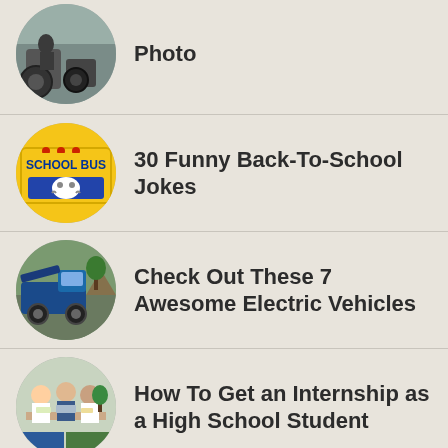Photo
30 Funny Back-To-School Jokes
Check Out These 7 Awesome Electric Vehicles
How To Get an Internship as a High School Student